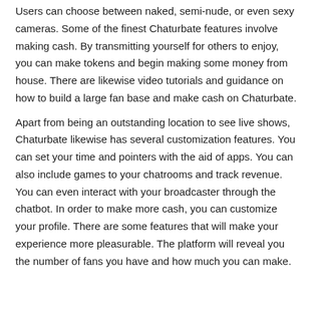Users can choose between naked, semi-nude, or even sexy cameras. Some of the finest Chaturbate features involve making cash. By transmitting yourself for others to enjoy, you can make tokens and begin making some money from house. There are likewise video tutorials and guidance on how to build a large fan base and make cash on Chaturbate.
Apart from being an outstanding location to see live shows, Chaturbate likewise has several customization features. You can set your time and pointers with the aid of apps. You can also include games to your chatrooms and track revenue. You can even interact with your broadcaster through the chatbot. In order to make more cash, you can customize your profile. There are some features that will make your experience more pleasurable. The platform will reveal you the number of fans you have and how much you can make.